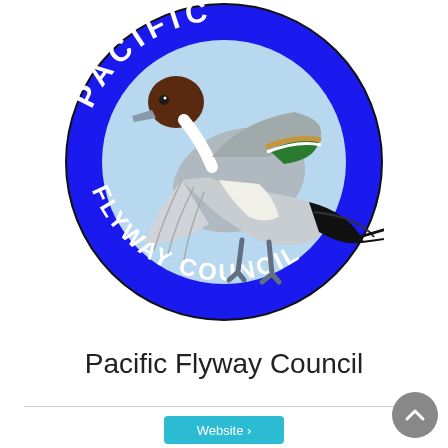[Figure (logo): Pacific Flyway Council circular logo featuring a pintail duck in flight at center on a light blue background, surrounded by a blue ring with white text reading PACIFIC at top and FLYWAY COUNCIL along the bottom arc.]
Pacific Flyway Council